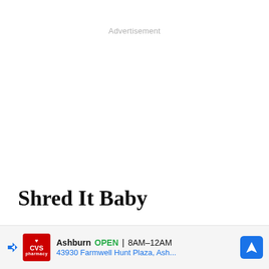Advertisement
Shred It Baby
Remove the meat from the bones. Remove the ribs from the sauce, then shred the meat. I get into it and do this by hand. Add the shredded meat back to the sauce and keep warm. Or, refrigerate to serve later for up...
[Figure (other): CVS Pharmacy advertisement banner showing: Ashburn OPEN 8AM-12AM, 43930 Farmwell Hunt Plaza, Ash...]